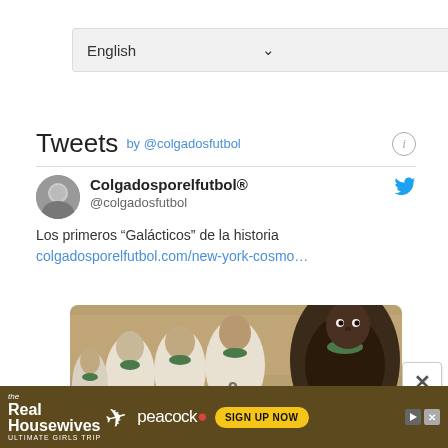[Figure (screenshot): Language dropdown selector showing 'English' with a chevron/arrow on the right, on a light gray background]
Tweets by @colgadosfutbol
[Figure (screenshot): Twitter/X widget showing a tweet from Colgadosporelfutbol® (@colgadosfutbol) with text 'Los primeros "Galácticos" de la historia' and a link to colgadosporelfutbol.com/new-york-cosmo..., with a black-and-white team photo showing soccer players in white and green jerseys]
[Figure (photo): Black-and-white photograph of soccer players in white jerseys with green collars, number 9 visible, with a Black player in foreground looking to the right]
[Figure (screenshot): Advertisement banner for 'The Real Housewives Ultimate Girls Trip' on Peacock with 'Sign Up Now' button]